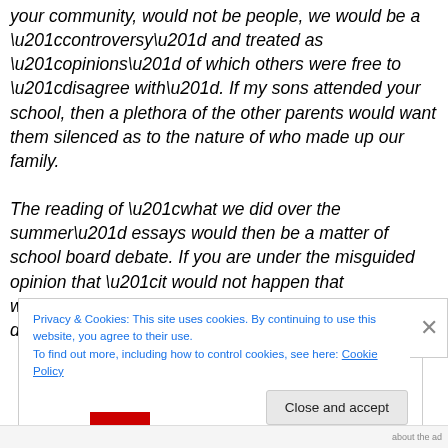your community, would not be people, we would be a “controversy” and treated as “opinions” of which others were free to “disagree with”. If my sons attended your school, then a plethora of the other parents would want them silenced as to the nature of who made up our family.

The reading of “what we did over the summer” essays would then be a matter of school board debate. If you are under the misguided opinion that “it would not happen that way”, I will simply point you to the fact that you did not see the TANGO controversy coming either.
Privacy & Cookies: This site uses cookies. By continuing to use this website, you agree to their use.
To find out more, including how to control cookies, see here: Cookie Policy